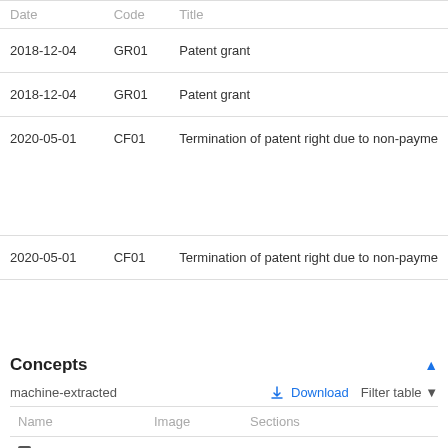| Date | Code | Title |
| --- | --- | --- |
| 2018-12-04 | GR01 | Patent grant |
| 2018-12-04 | GR01 | Patent grant |
| 2020-05-01 | CF01 | Termination of patent right due to non-payme |
| 2020-05-01 | CF01 | Termination of patent right due to non-payme |
Concepts
machine-extracted
| Name | Image | Sections |
| --- | --- | --- |
| polishing |  | title,claims,abstract,description |